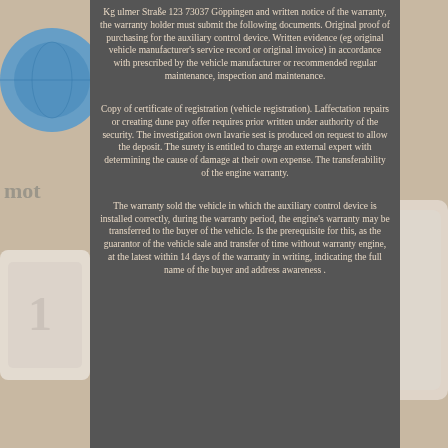[Figure (illustration): Background illustration showing a motor/engine component graphic in light colors (blue globe/circle top left, white engine block shape bottom left, white figure bottom right), partially visible behind the dark grey text panel. The word 'mot' is partially visible on the left side.]
Kg ulmer Straße 123 73037 Göppingen and written notice of the warranty, the warranty holder must submit the following documents. Original proof of purchasing for the auxiliary control device. Written evidence (eg original vehicle manufacturer's service record or original invoice) in accordance with prescribed by the vehicle manufacturer or recommended regular maintenance, inspection and maintenance.
Copy of certificate of registration (vehicle registration). Laffectation repairs or creating dune pay offer requires prior written under authority of the security. The investigation own lavarie sest is produced on request to allow the deposit. The surety is entitled to charge an external expert with determining the cause of damage at their own expense. The transferability of the engine warranty.
The warranty sold the vehicle in which the auxiliary control device is installed correctly, during the warranty period, the engine's warranty may be transferred to the buyer of the vehicle. Is the prerequisite for this, as the guarantor of the vehicle sale and transfer of time without warranty engine, at the latest within 14 days of the warranty in writing, indicating the full name of the buyer and address awareness .